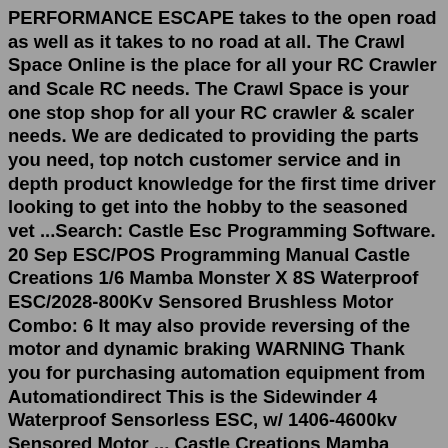PERFORMANCE ESCAPE takes to the open road as well as it takes to no road at all. The Crawl Space Online is the place for all your RC Crawler and Scale RC needs. The Crawl Space is your one stop shop for all your RC crawler & scaler needs. We are dedicated to providing the parts you need, top notch customer service and in depth product knowledge for the first time driver looking to get into the hobby to the seasoned vet ...Search: Castle Esc Programming Software. 20 Sep ESC/POS Programming Manual Castle Creations 1/6 Mamba Monster X 8S Waterproof ESC/2028-800Kv Sensored Brushless Motor Combo: 6 It may also provide reversing of the motor and dynamic braking WARNING Thank you for purchasing automation equipment from Automationdirect This is the Sidewinder 4 Waterproof Sensorless ESC, w/ 1406-4600kv Sensored Motor ... Castle Creations Mamba Micro X 12.6V ESC w/1406-2850KV Sensored Motor. Putting the X in Extreme! The Mamba Micro X Crawler edition is our latest offering for the crawling crowd. We have